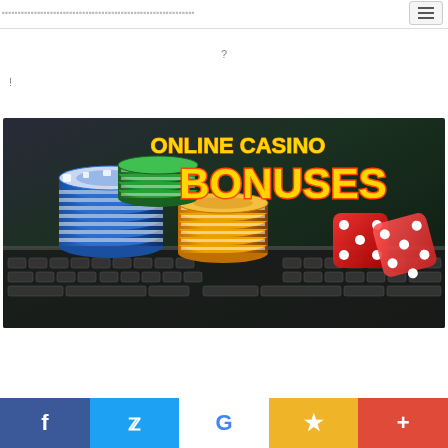navigation header with hamburger menu
?
!
[Figure (photo): Online Casino Bonuses promotional image showing stacks of casino chips (blue, white, green, orange) and red dice on a laptop keyboard, with bold gold text reading ONLINE CASINO BONUSES on a dark background]
Social share bar with Facebook, Twitter, Google, Bookmark, and Add buttons